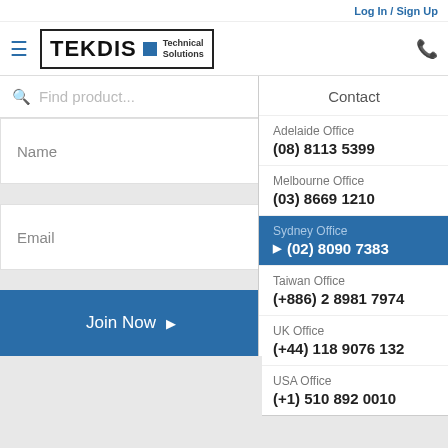Log In / Sign Up
[Figure (logo): TEKDIS Technical Solutions logo with blue square]
Find product...
Name
Email
Join Now
[Figure (illustration): Social media icons: Facebook, LinkedIn, YouTube]
[Figure (logo): TEKDIS watermark logo]
Contact
Adelaide Office
(08) 8113 5399
Melbourne Office
(03) 8669 1210
Sydney Office
(02) 8090 7383
Taiwan Office
(+886) 2 8981 7974
UK Office
(+44) 118 9076 132
USA Office
(+1) 510 892 0010